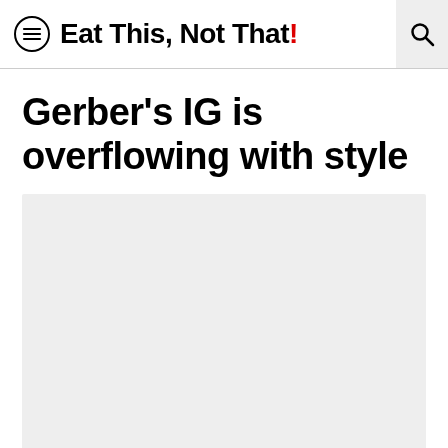Eat This, Not That!
Gerber's IG is overflowing with style
[Figure (photo): Light grey placeholder image rectangle below the article title]